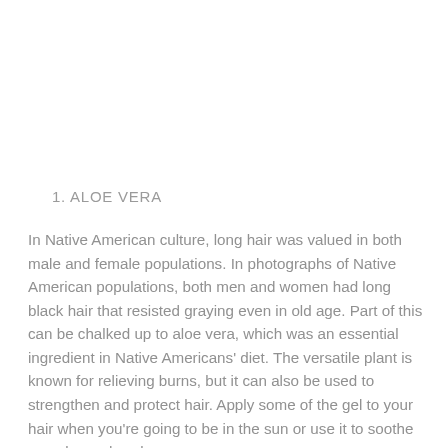1. ALOE VERA
In Native American culture, long hair was valued in both male and female populations. In photographs of Native American populations, both men and women had long black hair that resisted graying even in old age. Part of this can be chalked up to aloe vera, which was an essential ingredient in Native Americans' diet. The versatile plant is known for relieving burns, but it can also be used to strengthen and protect hair. Apply some of the gel to your hair when you're going to be in the sun or use it to soothe a sunburned scalp.